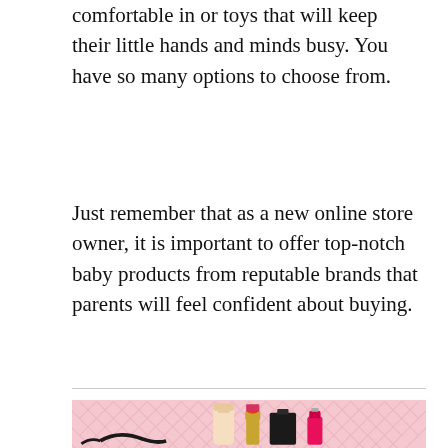comfortable in or toys that will keep their little hands and minds busy. You have so many options to choose from.
Just remember that as a new online store owner, it is important to offer top-notch baby products from reputable brands that parents will feel confident about buying.
[Figure (photo): Pink background with a chevron/zigzag pattern, showing cosmetics products: a beige cream tube, a magenta/red lipstick in gold case, a black square perfume/makeup bottle, a hot pink nail polish bottle, and a black eyeglass frame partially visible at the bottom left.]